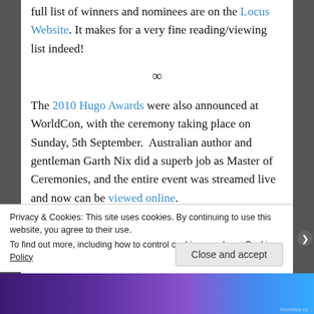full list of winners and nominees are on the Locus Website. It makes for a very fine reading/viewing list indeed!
∞
The 2010 Hugo Awards were also announced at WorldCon, with the ceremony taking place on Sunday, 5th September.  Australian author and gentleman Garth Nix did a superb job as Master of Ceremonies, and the entire event was streamed live and now can be viewed online.
Privacy & Cookies: This site uses cookies. By continuing to use this website, you agree to their use. To find out more, including how to control cookies, see here: Cookie Policy
Close and accept